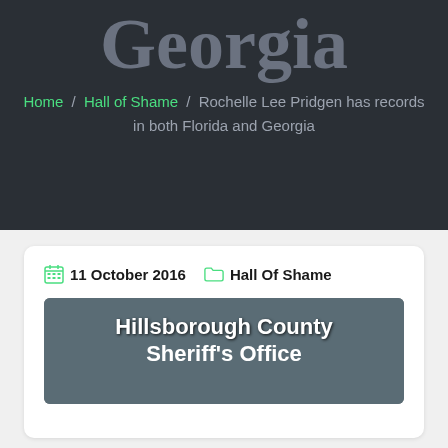Georgia
Home / Hall of Shame / Rochelle Lee Pridgen has records in both Florida and Georgia
11 October 2016   Hall Of Shame
[Figure (photo): Mugshot photo with overlay text reading 'Hillsborough County Sheriff's Office']